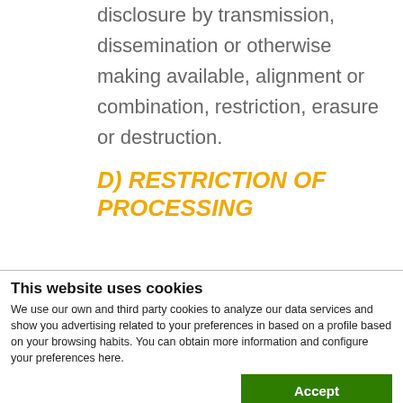disclosure by transmission, dissemination or otherwise making available, alignment or combination, restriction, erasure or destruction.
D) RESTRICTION OF PROCESSING
This website uses cookies
We use our own and third party cookies to analyze our data services and show you advertising related to your preferences in based on a profile based on your browsing habits. You can obtain more information and configure your preferences here.
Accept
Necessary  Preferences  Statistics  Marketing  Show details